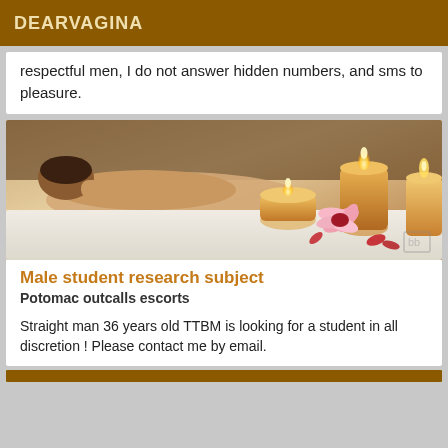DEARVAGINA
respectful men, I do not answer hidden numbers, and sms to pleasure.
[Figure (photo): Spa/massage scene with a person lying face down on a massage table, with lit candles and a pink flower in the foreground]
Male student research subject
Potomac outcalls escorts
Straight man 36 years old TTBM is looking for a student in all discretion ! Please contact me by email.